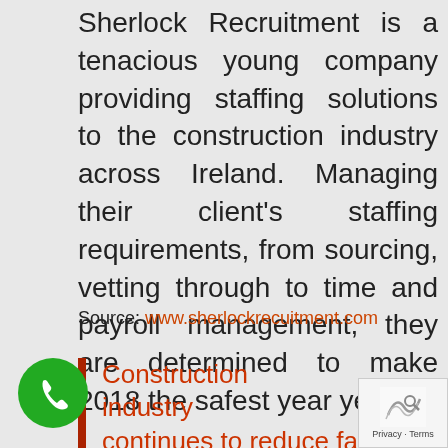Sherlock Recruitment is a tenacious young company providing staffing solutions to the construction industry across Ireland. Managing their client's staffing requirements, from sourcing, vetting through to time and payroll management, they are determined to make 2018 the safest year yet.
Source: www.sherlockrecuitment.com
Construction industry continues to reduce fatalities in 2017